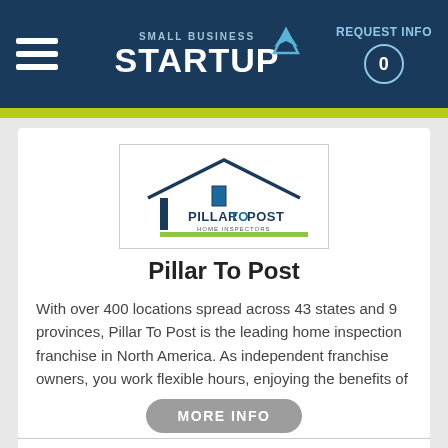SMALL BUSINESS STARTUP | REQUEST INFO 0
[Figure (logo): Pillar To Post Home Inspectors logo - house outline with pillar/door icon and green underline]
Pillar To Post
With over 400 locations spread across 43 states and 9 provinces, Pillar To Post is the leading home inspection franchise in North America. As independent franchise owners, you work flexible hours, enjoying the benefits of
MORE INFO
$40,000 MIN CASH REQUIRED
+ Submit Info Request